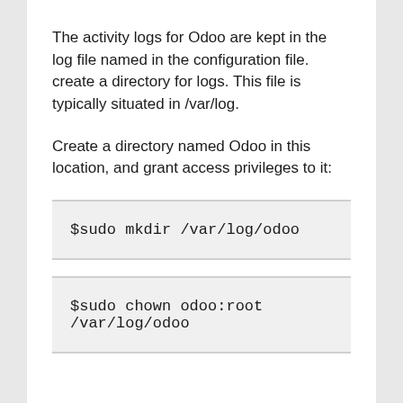The activity logs for Odoo are kept in the log file named in the configuration file. create a directory for logs. This file is typically situated in /var/log.
Create a directory named Odoo in this location, and grant access privileges to it:
$sudo mkdir /var/log/odoo
$sudo chown odoo:root /var/log/odoo